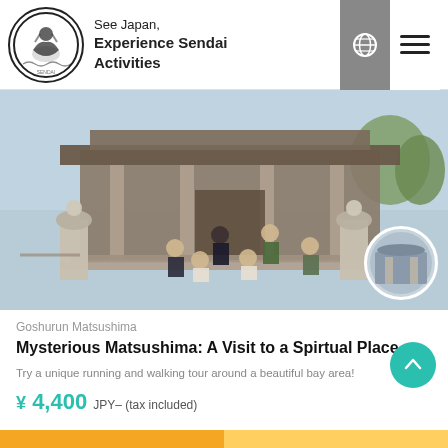See Japan, Experience Sendai Activities
[Figure (photo): Group of people wearing masks posed in front of a Japanese temple/shrine building with stone lanterns at Matsushima]
Goshurun Matsushima
Mysterious Matsushima: A Visit to a Spirtual Place
Try a unique running and walking tour around a beautiful bay area!
¥ 4,400 JPY- (tax included)